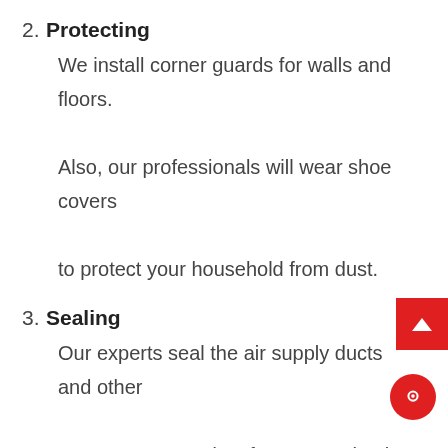2. Protecting
We install corner guards for walls and floors. Also, our professionals will wear shoe covers to protect your household from dust.
3. Sealing
Our experts seal the air supply ducts and other vents to prevent dust from sweeping in during the cleaning process.
4. Cleaning
Our machines then take charge in creating a suction that removes all dust, grime, and